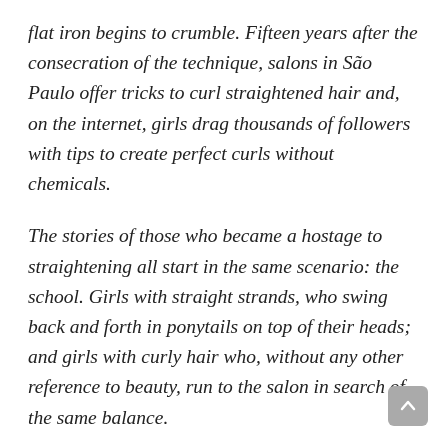flat iron begins to crumble. Fifteen years after the consecration of the technique, salons in São Paulo offer tricks to curl straightened hair and, on the internet, girls drag thousands of followers with tips to create perfect curls without chemicals.
The stories of those who became a hostage to straightening all start in the same scenario: the school. Girls with straight strands, who swing back and forth in ponytails on top of their heads; and girls with curly hair who, without any other reference to beauty, run to the salon in search of the same balance.